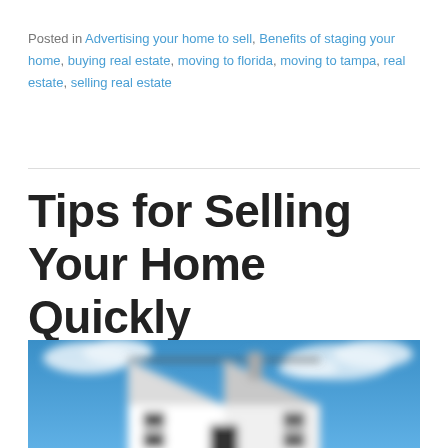Posted in Advertising your home to sell, Benefits of staging your home, buying real estate, moving to florida, moving to tampa, real estate, selling real estate
Tips for Selling Your Home Quickly
[Figure (photo): A blurred photo of a white house with a peaked roof against a blue sky with white clouds]